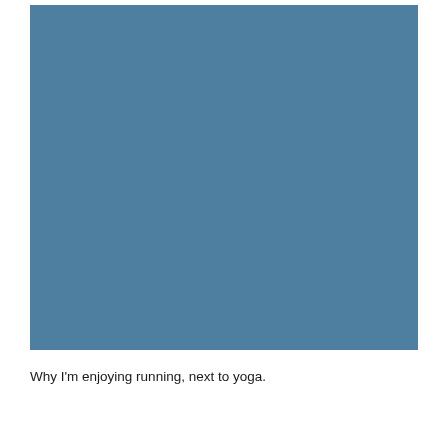[Figure (photo): A large solid steel-blue colored rectangle filling most of the upper portion of the page.]
Why I'm enjoying running, next to yoga.